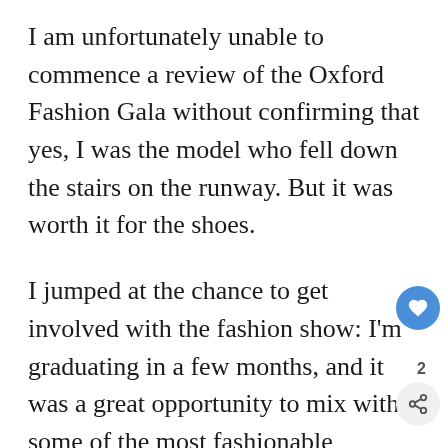I am unfortunately unable to commence a review of the Oxford Fashion Gala without confirming that yes, I was the model who fell down the stairs on the runway. But it was worth it for the shoes.
I jumped at the chance to get involved with the fashion show: I'm graduating in a few months, and it was a great opportunity to mix with some of the most fashionable denizens of Oxford. The attendees did not disappoint clothes-wise – the call to 'dress like Anna Wintour is watching' was absolutely met. While some met the theme with glamourous black-tie looks, equally interesting were those who mixed high-fashion creatively w street style